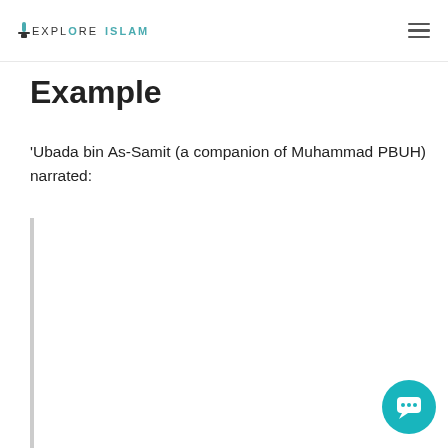EXPLORE ISLAM
Example
'Ubada bin As-Samit (a companion of Muhammad PBUH) narrated:
“ Allah’s Messenger (PBUH) said to us while we were in a gathering, “Give me the oath (Pledge of allegiance) for: (1) Not to join anything in worship along with Allah,